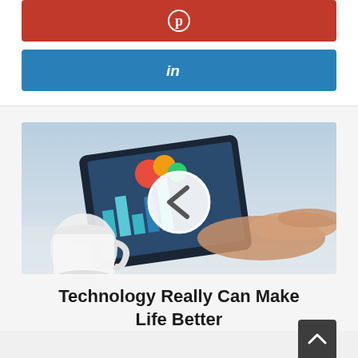[Figure (other): Pinterest share button (red) with Pinterest circle-P logo icon]
[Figure (other): LinkedIn share button (blue) with LinkedIn 'in' logo icon]
[Figure (photo): Photo of hands using a tablet showing charts and graphs, with a white coffee mug beside it, and a circular play/navigation button overlay with a left chevron arrow]
Technology Really Can Make Life Better